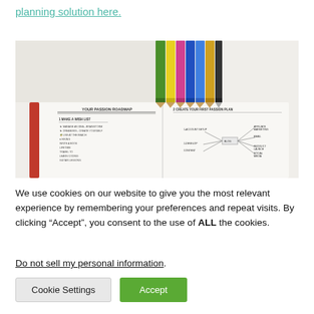planning solution here.
[Figure (photo): An open notebook titled 'YOUR PASSION ROADMAP' with handwritten lists and mind maps, with colored pencils laid across the top.]
We use cookies on our website to give you the most relevant experience by remembering your preferences and repeat visits. By clicking “Accept”, you consent to the use of ALL the cookies.
Do not sell my personal information.